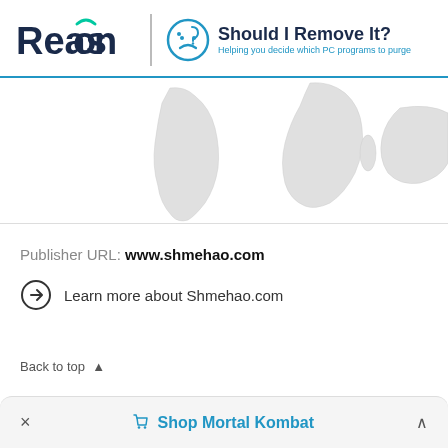[Figure (logo): Reason Software logo and 'Should I Remove It?' logo with tagline 'Helping you decide which PC programs to purge']
[Figure (map): Partial world map showing South America, Africa, and Australia in light gray]
Publisher URL: www.shmehao.com
Learn more about Shmehao.com
Back to top ▲
× Shop Mortal Kombat ^